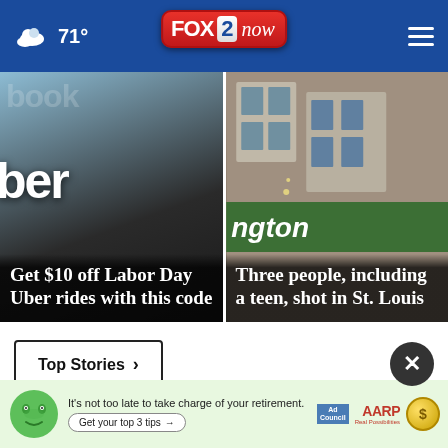71° FOX 2 now
[Figure (screenshot): News card: Uber app on phone with Facebook visible. Headline: Get $10 off Labor Day Uber rides with this code]
[Figure (screenshot): News card: Street corner sign in St. Louis. Headline: Three people, including a teen, shot in St. Louis]
Top Stories ›
[Figure (photo): AARP advertisement banner: It's not too late to take charge of your retirement. Get your top 3 tips →]